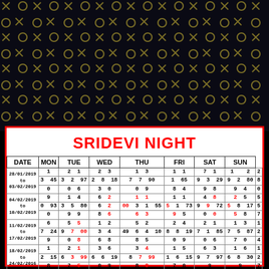[Figure (illustration): Dark background with repeating X and O pattern in gold/olive color, arranged in a grid across the top portion of the page]
SRIDEVI NIGHT
| DATE | MON | TUE | WED | THU | FRI | SAT | SUN |
| --- | --- | --- | --- | --- | --- | --- | --- |
| 28/01/2019 to 03/02/2019 | 1 3 0 | 2 1
45 3 2
0 6 | 2 3
2 8 18
3 0 | 1 3
7 7 90
0 9 | 1 1
1 65
8 4 | 7 1
9 3 29
9 8 | 1 2
9
2 80
4 | 2
8
0 |
| 04/02/2019 to 10/02/2019 | 9 0 0 | 1 4
93 3 5 80
9 9 | 6 2
6 2
8 6 | 1 1
00 3 1 55
6 3 | 1 1
5 1 73
9 5 | 4 8
9 9 72
0 0 | 2 5
5 8 17
5 8 | 5
5
7 |
| 11/02/2019 to 17/02/2019 | 6 7 9 | 5 5
24 9 7 00
0 8 | 1 2
3 4
6 8 | 5 2
49 6 4 10
8 5 | 2 4
8 8 19
0 9 | 2 1
7 1 85
0 6 | 1 3
7 5 87
7 0 | 1
2
4 |
| 18/02/2019 to 24/02/2016 | 1 2 8 | 2 1
15 6 3 99
7 5 | 3 6
6 6 19
0 9 | 3 4
8 7 99
8 8 | 1 5
1 6 15
7 0 | 6 3
9 7 97
9 | 1 6
6 8 30
9 | 1
2
7 |